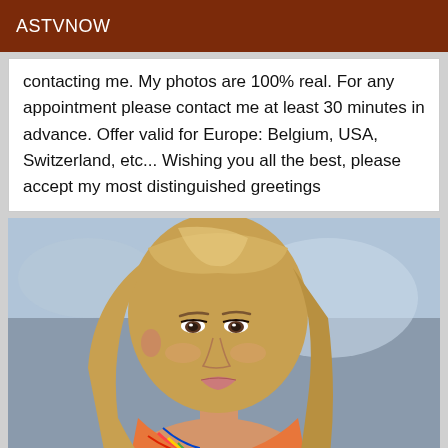ASTVNOW
contacting me. My photos are 100% real. For any appointment please contact me at least 30 minutes in advance. Offer valid for Europe: Belgium, USA, Switzerland, etc... Wishing you all the best, please accept my most distinguished greetings
[Figure (photo): Portrait photo of a young blonde woman with long hair, looking over her shoulder toward the camera, wearing a colorful patterned top, with a blurred blue background suggesting an outdoor/beach setting.]